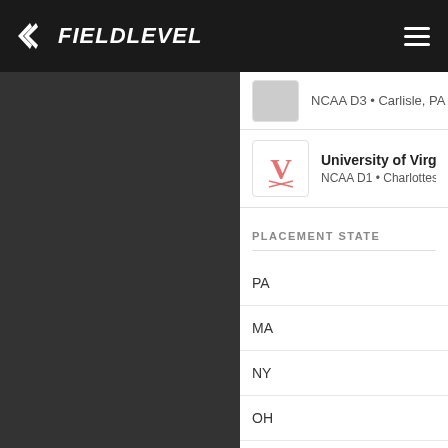FIELDLEVEL
NCAA D3 • Carlisle, PA
University of Virginia
NCAA D1 • Charlottesville
PLACEMENT STATE
PA
MA
NY
OH
VA